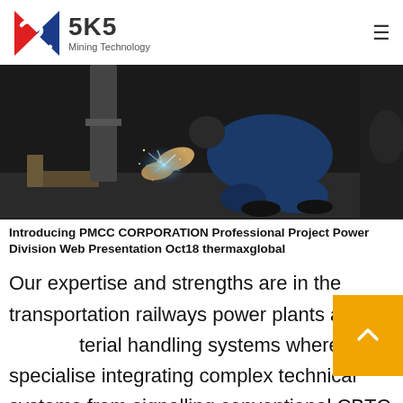SKS Mining Technology
[Figure (photo): A person in blue coveralls welding metal with bright blue sparks flying, crouching near steel beams on a dark workshop floor.]
Introducing PMCC CORPORATION Professional Project Power Division Web Presentation Oct18 thermaxglobal
Our expertise and strengths are in the transportation railways power plants and material handling systems where we specialised integrating complex technical systems from signalling conventional CBTC and